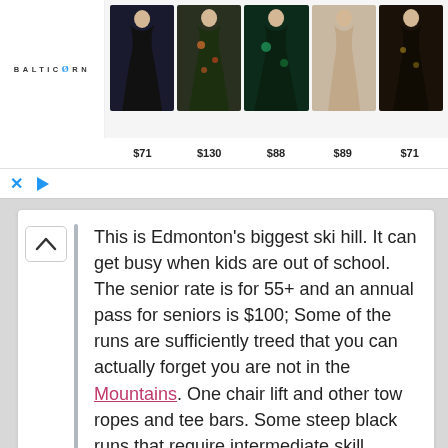[Figure (screenshot): Advertisement banner for BalticBorn showing logo on left and five women's dresses with prices: $71, $130, $88, $89, $71. Bottom controls show X and play button.]
This is Edmonton's biggest ski hill. It can get busy when kids are out of school. The senior rate is for 55+ and an annual pass for seniors is $100; Some of the runs are sufficiently treed that you can actually forget you are not in the Mountains. One chair lift and other tow ropes and tee bars. Some steep black runs that require intermediate skill.